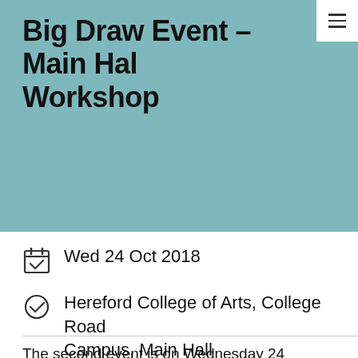Big Draw Event – Main Hall Workshop
Wed 24 Oct 2018
Hereford College of Arts, College Road Campus, Main Hall
The second event is on Wednesday 24 October, we